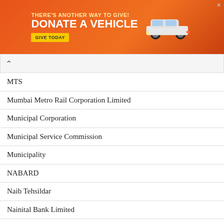[Figure (other): Advertisement banner: orange background with car image. Text: THERE'S ANOTHER WAY TO GIVE! DONATE A VEHICLE GIVE TODAY]
MTS
Mumbai Metro Rail Corporation Limited
Municipal Corporation
Municipal Service Commission
Municipality
NABARD
Naib Tehsildar
Nainital Bank Limited
National Aluminium Company Limited
National Bank for Agriculture and Rural Development
National Board of Examinations
National Board of Examinations in Medical Science